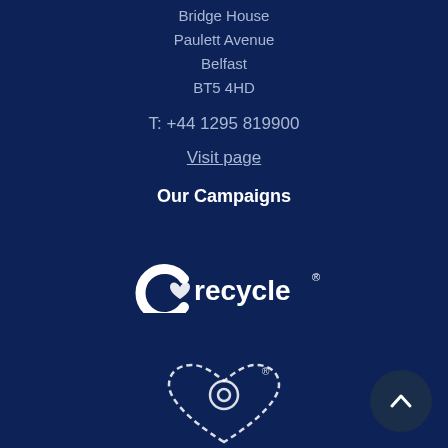Bridge House
Paulett Avenue
Belfast
BT5 4HD
T: +44 1295 819900
Visit page
Our Campaigns
[Figure (logo): Recycle logo with heart icon and text 'recycle' with registered trademark symbol]
[Figure (logo): Heart-shaped dashed outline logo with ring/circle inside, with registered trademark symbol]